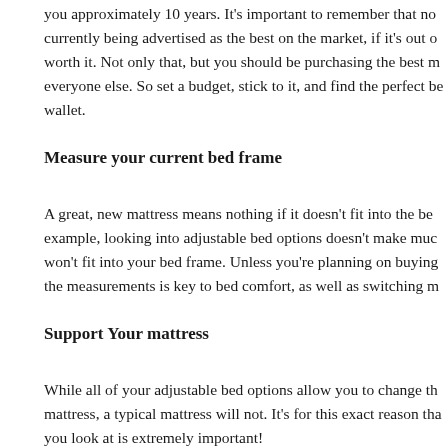you approximately 10 years. It's important to remember that no currently being advertised as the best on the market, if it's out o worth it. Not only that, but you should be purchasing the best m everyone else. So set a budget, stick to it, and find the perfect be wallet.
Measure your current bed frame
A great, new mattress means nothing if it doesn't fit into the be example, looking into adjustable bed options doesn't make muc won't fit into your bed frame. Unless you're planning on buying the measurements is key to bed comfort, as well as switching m
Support Your mattress
While all of your adjustable bed options allow you to change th mattress, a typical mattress will not. It's for this exact reason tha you look at is extremely important!